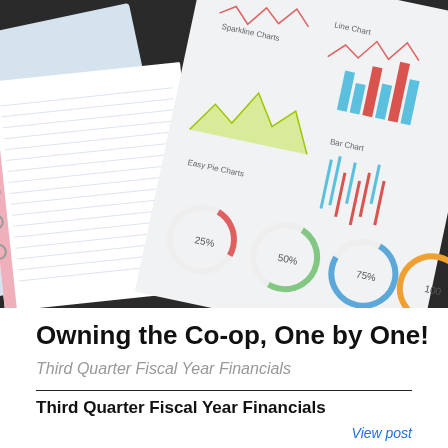[Figure (photo): Photo of notebooks, lined paper, and a printed sheet showing various charts (sparkline charts, bar charts, easy pie charts, donut charts showing 25%, 50%, 75%, 100%) on a dark background]
Owning the Co-op, One by One!
Third Quarter Fiscal Year Financials
Third Quarter Fiscal Year Financials
View post